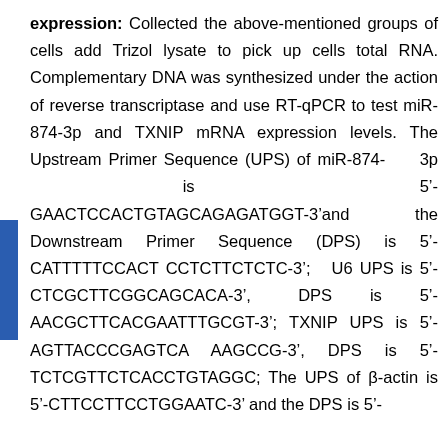expression: Collected the above-mentioned groups of cells add Trizol lysate to pick up cells total RNA. Complementary DNA was synthesized under the action of reverse transcriptase and use RT-qPCR to test miR-874-3p and TXNIP mRNA expression levels. The Upstream Primer Sequence (UPS) of miR-874- 3p is 5'-GAACTCCACTGTAGCAGAGATGGT-3'and the Downstream Primer Sequence (DPS) is 5'-CATTTTTCCACT CCTCTTCTCTC-3'; U6 UPS is 5'-CTCGCTTCGGCAGCACA-3', DPS is 5'-AACGCTTCACGAATTTGCGT-3'; TXNIP UPS is 5'-AGTTACCCGAGTCA AAGCCG-3', DPS is 5'-TCTCGTTCTCACCTGTAGGC; The UPS of β-actin is 5'-CTTCCTTCCTGGAATC-3' and the DPS is 5'-